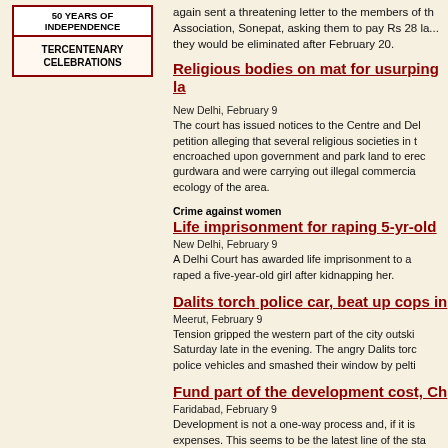[Figure (other): Banner box with '50 YEARS OF INDEPENDENCE' at top and 'TERCENTENARY CELEBRATIONS' below]
again sent a threatening letter to the members of the Association, Sonepat, asking them to pay Rs 28 la... they would be eliminated after February 20.
Religious bodies on mat for usurping la...
New Delhi, February 9
The court has issued notices to the Centre and Del... petition alleging that several religious societies in t... encroached upon government and park land to erec... gurdwara and were carrying out illegal commercia... ecology of the area.
Crime against women
Life imprisonment for raping 5-yr-old...
New Delhi, February 9
A Delhi Court has awarded life imprisonment to a... raped a five-year-old girl after kidnapping her.
Dalits torch police car, beat up cops in...
Meerut, February 9
Tension gripped the western part of the city outski... Saturday late in the evening. The angry Dalits torc... police vehicles and smashed their window by pelti...
Fund part of the development cost, Ch...
Faridabad, February 9
Development is not a one-way process and, if it is... expenses. This seems to be the latest line of the sta...